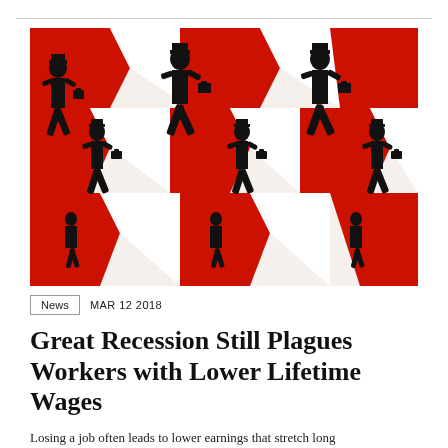[Figure (illustration): Stylized illustration of black silhouette businessmen with briefcases walking left against a bold red and white geometric arrow/chevron pattern background, repeated in rows.]
News   MAR 12 2018
Great Recession Still Plagues Workers with Lower Lifetime Wages
Losing a job often leads to lower earnings that stretch long...